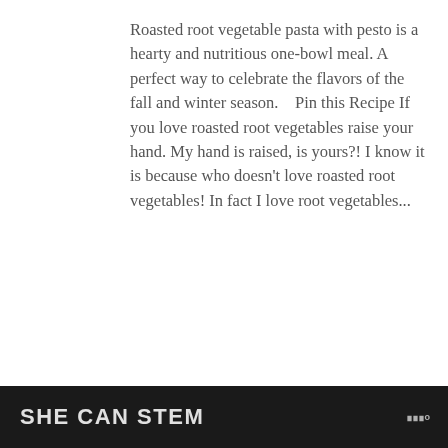Roasted root vegetable pasta with pesto is a hearty and nutritious one-bowl meal. A perfect way to celebrate the flavors of the fall and winter season.   Pin this Recipe If you love roasted root vegetables raise your hand. My hand is raised, is yours?! I know it is because who doesn't love roasted root vegetables! In fact I love root vegetables...
[Figure (photo): Share widget with count 0 and share icon]
[Figure (photo): Food photo showing a plate of roasted root vegetable pasta, with red tablecloth visible on the left. A 'What's Next' overlay shows a circular thumbnail and text 'Vegetarian Stuffed...' with teal label.]
SHE CAN STEM